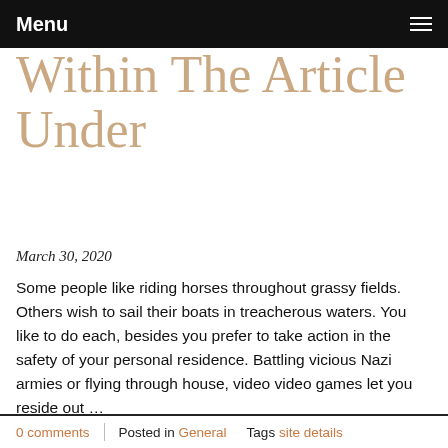Menu
Within The Article Under
March 30, 2020
Some people like riding horses throughout grassy fields. Others wish to sail their boats in treacherous waters. You like to do each, besides you prefer to take action in the safety of your personal residence. Battling vicious Nazi armies or flying through house, video video games let you reside out …
Read more
0 comments  Posted in General  Tags site details